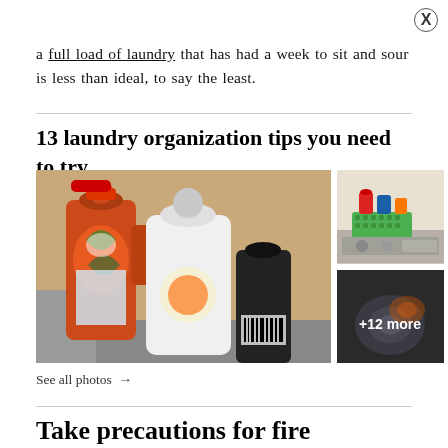a full load of laundry that has had a week to sit and sour is less than ideal, to say the least.
13 laundry organization tips you need to try
[Figure (photo): Two large laundry detergent bottles (orange and white) on a surface, with a smaller bottle]
[Figure (photo): Green basket with laundry supplies on top of a washing machine]
[Figure (photo): Dark/blurred laundry image with +12 more overlay]
See all photos →
Take precautions for fire